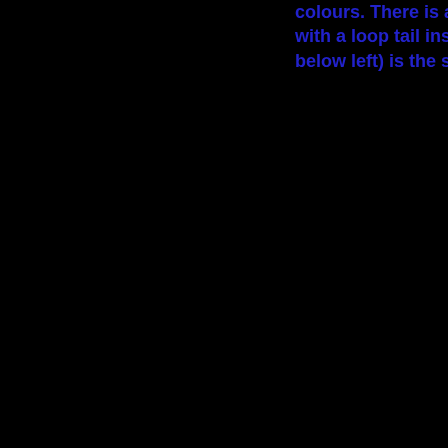colours. There is a new hand painted with a loop tail instead of a drogue. Th below left) is the same size as the 4 p
[Figure (photo): Large dark/black image occupying most of the page, showing what appears to be objects against a very dark background, barely visible.]